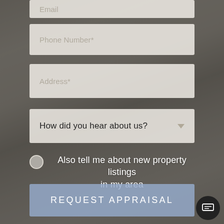[Figure (screenshot): Partial form field for Email input at top of page]
Phone Number*
Address*
How did you hear about us?
Also tell me about new property listings in my area
REQUEST APPRAISAL